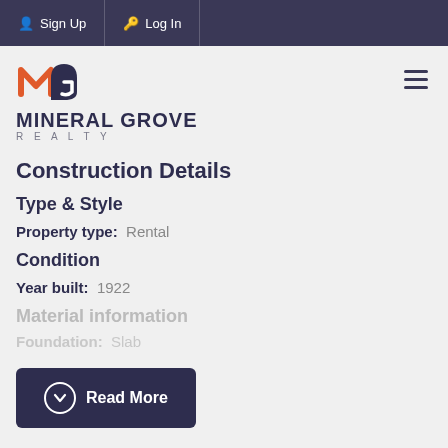Sign Up  Log In
[Figure (logo): Mineral Grove Realty logo with orange and dark blue M-G icon and text MINERAL GROVE REALTY]
Construction Details
Type & Style
Property type:  Rental
Condition
Year built:  1922
Material information
Foundation:  Slab
Read More